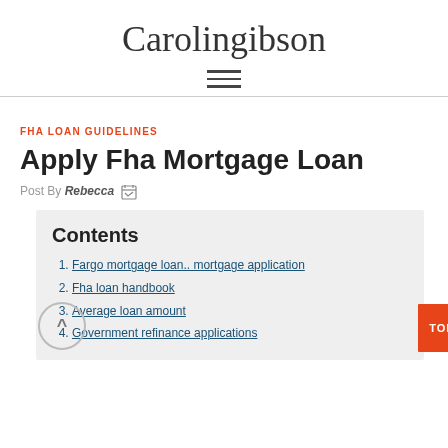Carolingibson
FHA LOAN GUIDELINES
Apply Fha Mortgage Loan
Post By Rebecca
Contents
Fargo mortgage loan.. mortgage application
Fha loan handbook
Average loan amount
Government refinance applications